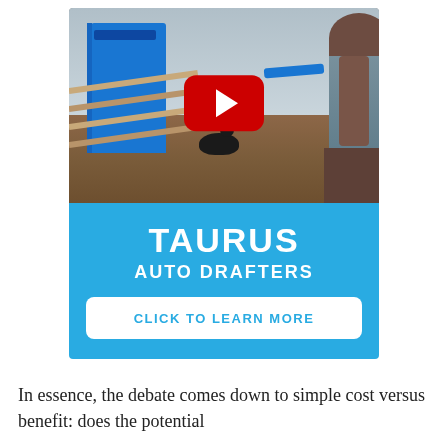[Figure (photo): YouTube-style video thumbnail showing a blue Taurus auto drafter machine, a person standing on the right, a dog in the middle, and farm yard scenery with fencing and timber, with a red YouTube play button overlay. Below the image is a blue banner with text TAURUS AUTO DRAFTERS and a CLICK TO LEARN MORE button.]
In essence, the debate comes down to simple cost versus benefit: does the potential